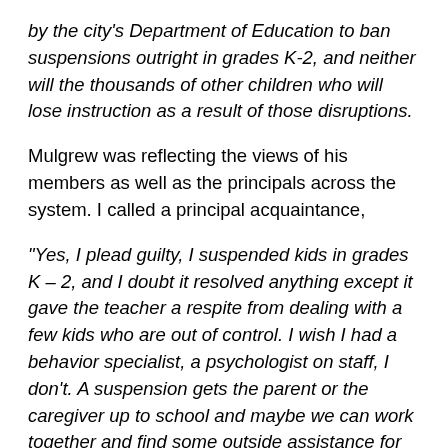by the city's Department of Education to ban suspensions outright in grades K-2, and neither will the thousands of other children who will lose instruction as a result of those disruptions.
Mulgrew was reflecting the views of his members as well as the principals across the system. I called a principal acquaintance,
“Yes, I plead guilty, I suspended kids in grades K – 2, and I doubt it resolved anything except it gave the teacher a respite from dealing with a few kids who are out of control. I wish I had a behavior specialist, a psychologist on staff, I don’t. A suspension gets the parent or the caregiver up to school and maybe we can work together and find some outside assistance for the kid. I suggested at a principal's meeting that we chip in and hire an expert who we could